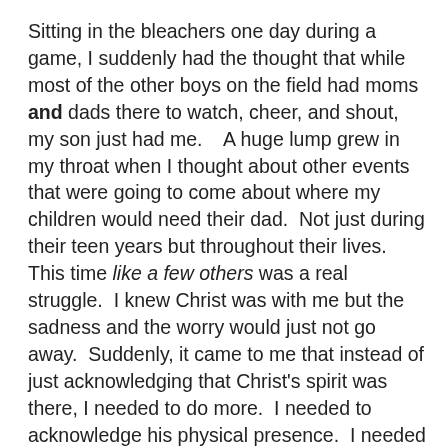Sitting in the bleachers one day during a game, I suddenly had the thought that while most of the other boys on the field had moms and dads there to watch, cheer, and shout, my son just had me.   A huge lump grew in my throat when I thought about other events that were going to come about where my children would need their dad.  Not just during their teen years but throughout their lives.  This time like a few others was a real struggle.  I knew Christ was with me but the sadness and the worry would just not go away.  Suddenly, it came to me that instead of just acknowledging that Christ's spirit was there, I needed to do more.  I needed to acknowledge his physical presence.  I needed to visualize Christ sitting there with me on the bleachers.  The idea seemed strange but I had come to realize that I did not need to be surprised by the things that God was doing.  When in my minds eye I finally did see Christ sitting there beside me, I felt the peaceful reassurance that everything was going to be alright.  As a matter of fact my heart grew lighter and I had to smile when I gave thought to the idea that Christ wouldn't be sitting on the bleachers in